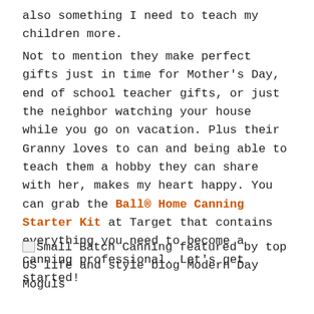also something I need to teach my children more.
Not to mention they make perfect gifts just in time for Mother's Day, end of school teacher gifts, or just the neighbor watching your house while you go on vacation. Plus their Granny loves to can and being able to teach them a hobby they can share with her, makes my heart happy. You can grab the Ball® Home Canning Starter Kit at Target that contains everything you need to become a canning professional. Let's get started!
[Figure (other): Small Batch Canning featured by top US life and style blog Modern Day Moguls — broken image placeholder with alt text]